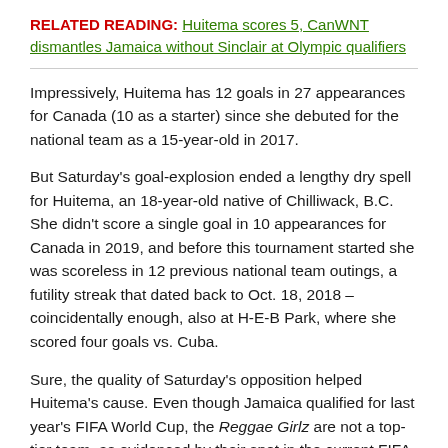RELATED READING: Huitema scores 5, CanWNT dismantles Jamaica without Sinclair at Olympic qualifiers
Impressively, Huitema has 12 goals in 27 appearances for Canada (10 as a starter) since she debuted for the national team as a 15-year-old in 2017.
But Saturday's goal-explosion ended a lengthy dry spell for Huitema, an 18-year-old native of Chilliwack, B.C. She didn't score a single goal in 10 appearances for Canada in 2019, and before this tournament started she was scoreless in 12 previous national team outings, a futility streak that dated back to Oct. 18, 2018 – coincidentally enough, also at H-E-B Park, where she scored four goals vs. Cuba.
Sure, the quality of Saturday's opposition helped Huitema's cause. Even though Jamaica qualified for last year's FIFA World Cup, the Reggae Girlz are not a top-tier team, as evidenced by their spot in the current FIFA world